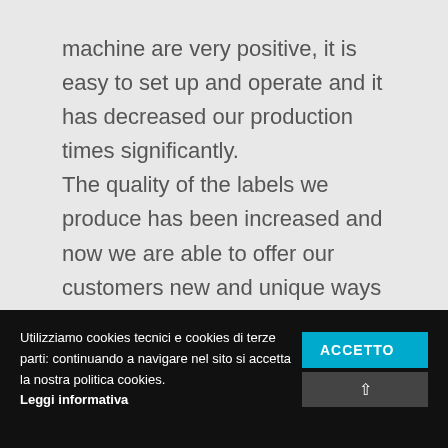machine are very positive, it is easy to set up and operate and it has decreased our production times significantly. The quality of the labels we produce has been increased and now we are able to offer our customers new and unique ways to print even the most complex label designs.
Utilizziamo cookies tecnici e cookies di terze parti: continuando a navigare nel sito si accetta la nostra politica cookies. Leggi informativa